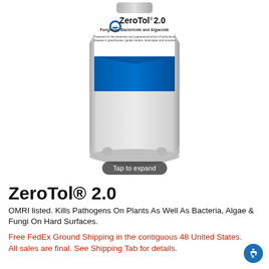[Figure (photo): ZeroTol 2.0 product bottle/jug with label showing 'ZeroTol 2.0 Fungicide, Bactericide and Algaecide' with a blue label and gray plastic container. A 'Tap to expand' overlay button is visible at the bottom of the image.]
ZeroTol® 2.0
OMRI listed. Kills Pathogens On Plants As Well As Bacteria, Algae & Fungi On Hard Surfaces.
Free FedEx Ground Shipping in the contiguous 48 United States.
All sales are final. See Shipping Tab for details.